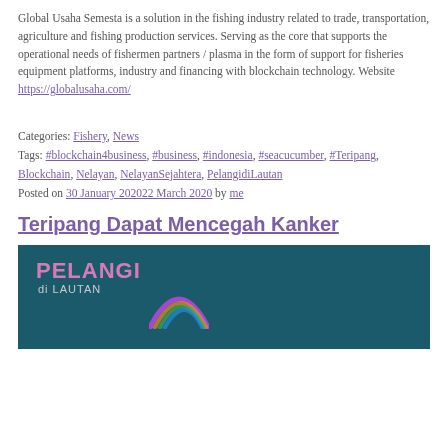Global Usaha Semesta is a solution in the fishing industry related to trade, transportation, agriculture and fishing production services. Serving as the core that supports the operational needs of fishermen partners / plasma in the form of support for fisheries equipment platforms, industry and financing with blockchain technology. Website https://globalusaha.com/
Categories: Fishery, News
Tags: #blockchain4business, #business, #indonesia, #seacucumber, #Teripang, Blockchain, Nelayan, NelayanSejahtera, PelangidiLautan
Posted on 30 January 202022 March 2020 by me
Teripang Dapat Mencegah Kanker
[Figure (photo): Dark teal background image with text 'PELANGI di LAUTAN' in pink and white bold letters, with a colorful arc/rainbow shape at the bottom left]